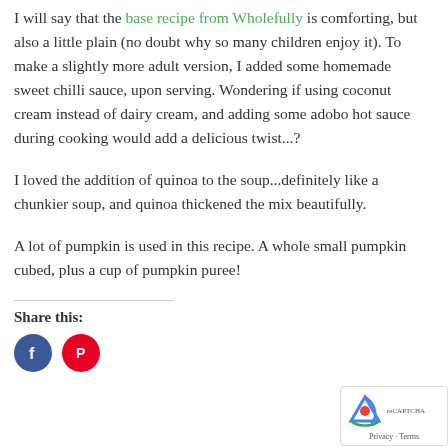I will say that the base recipe from Wholefully is comforting, but also a little plain (no doubt why so many children enjoy it). To make a slightly more adult version, I added some homemade sweet chilli sauce, upon serving. Wondering if using coconut cream instead of dairy cream, and adding some adobo hot sauce during cooking would add a delicious twist...?
I loved the addition of quinoa to the soup...definitely like a chunkier soup, and quinoa thickened the mix beautifully.
A lot of pumpkin is used in this recipe. A whole small pumpkin cubed, plus a cup of pumpkin puree!
Share this: